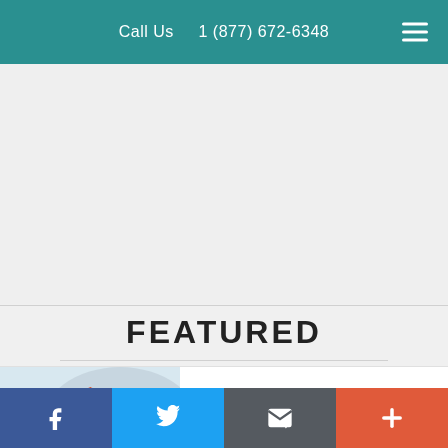Call Us   1 (877) 672-6348
[Figure (other): Large blank gray content area, placeholder for main website content]
FEATURED
[Figure (photo): Thumbnail photo of a building with red/orange roof and snow, blurred background, representing a news story about a new museum in Denmark]
New Museum in Denmark Celebrat...
Facebook | Twitter | Email | More (+)